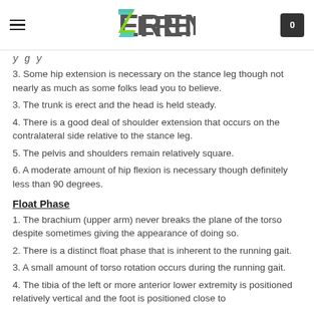ZEREN (logo header with hamburger menu and cart)
y g y
3. Some hip extension is necessary on the stance leg though not nearly as much as some folks lead you to believe.
3. The trunk is erect and the head is held steady.
4. There is a good deal of shoulder extension that occurs on the contralateral side relative to the stance leg.
5. The pelvis and shoulders remain relatively square.
6. A moderate amount of hip flexion is necessary though definitely less than 90 degrees.
Float Phase
1. The brachium (upper arm) never breaks the plane of the torso despite sometimes giving the appearance of doing so.
2. There is a distinct float phase that is inherent to the running gait.
3. A small amount of torso rotation occurs during the running gait.
4. The tibia of the left or more anterior lower extremity is positioned relatively vertical and the foot is positioned close to